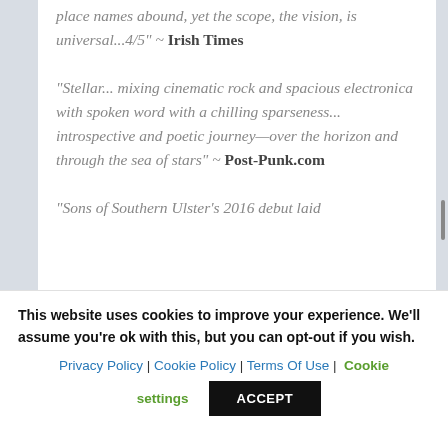place names abound, yet the scope, the vision, is universal...4/5" ~ Irish Times
"Stellar... mixing cinematic rock and spacious electronica with spoken word with a chilling sparseness... introspective and poetic journey—over the horizon and through the sea of stars" ~ Post-Punk.com
"Sons of Southern Ulster's 2016 debut laid
This website uses cookies to improve your experience. We'll assume you're ok with this, but you can opt-out if you wish.
Privacy Policy | Cookie Policy | Terms Of Use | Cookie settings
ACCEPT